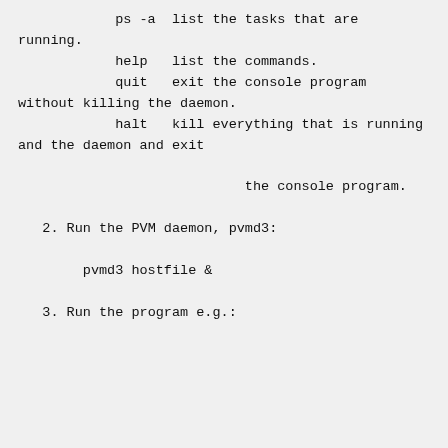ps -a  list the tasks that are running.
            help   list the commands.
            quit   exit the console program without killing the daemon.
            halt   kill everything that is running and the daemon and exit
                            the console program.
2. Run the PVM daemon, pvmd3:
pvmd3 hostfile &
3. Run the program e.g.: